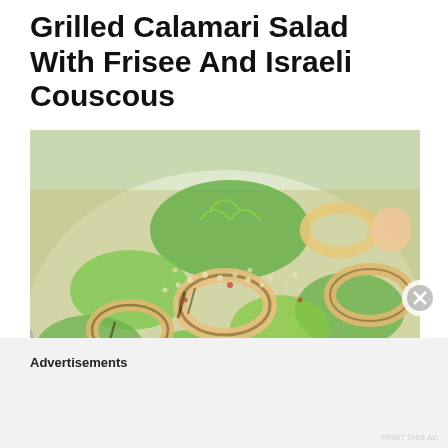Grilled Calamari Salad With Frisee And Israeli Couscous
[Figure (photo): Close-up photo of a grilled calamari salad with frisee lettuce and Israeli couscous on a white plate, showing golden-brown calamari rings with grill marks, green frisee, small white couscous pearls, and colorful vegetables]
Advertisements